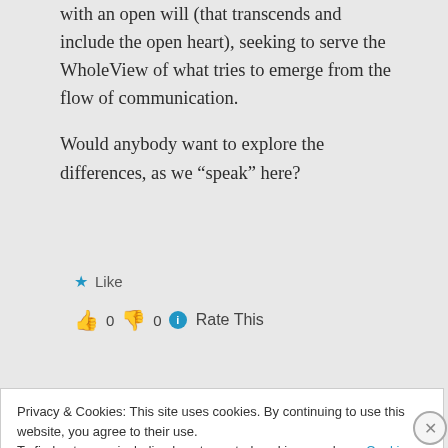with an open will (that transcends and include the open heart), seeking to serve the WholeView of what tries to emerge from the flow of communication.

Would anybody want to explore the differences, as we “speak” here?
★ Like
👍 0 👎 0 ⓘ Rate This
Log in to Reply
Privacy & Cookies: This site uses cookies. By continuing to use this website, you agree to their use.
To find out more, including how to control cookies, see here: Cookie Policy
Close and accept